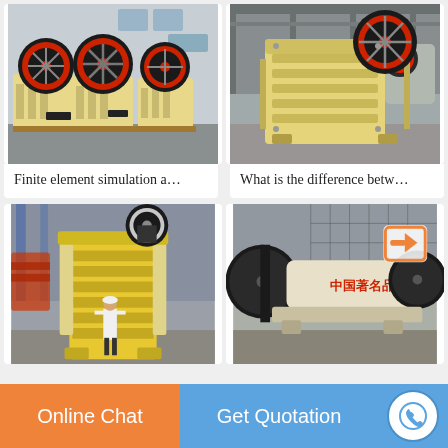[Figure (photo): Multiple jaw crushers with large black and red flywheels, painted cream/yellow, stacked in a warehouse/factory]
Finite element simulation a…
[Figure (photo): Single jaw crusher unit with large red-rimmed flywheel, cream/yellow body, in industrial factory setting]
What is the difference betw…
[Figure (photo): Large jaw crusher in yellow and cream color with a person standing in front for scale, in factory]
[Figure (photo): Industrial crusher machine with Chinese text '中国著名品牌' and orange arrow icon, in factory]
Online Chat
Get Quotation